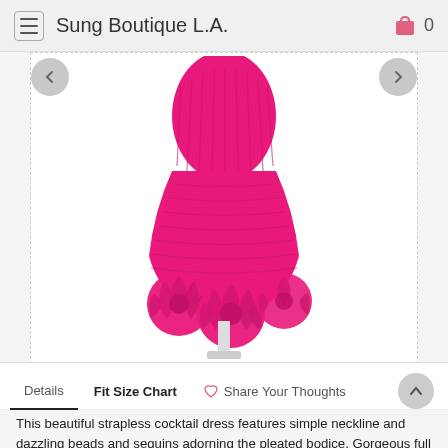Sung Boutique L.A.  0
[Figure (photo): Pink strapless cocktail dress with ruched bodice and large rosette details along the hem, displayed on mannequin against white background]
Details  Fit Size Chart  Share Your Thoughts
This beautiful strapless cocktail dress features simple neckline and dazzling beads and sequins adorning the pleated bodice. Gorgeous full rosettes along the hem finish this fabulous look.